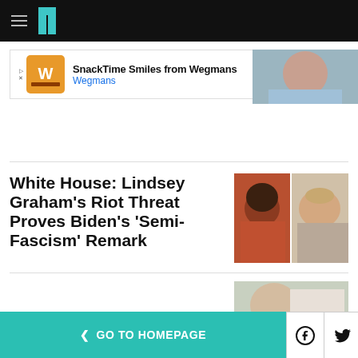HuffPost navigation header
[Figure (other): Advertisement banner: Snack Time Smiles from Wegmans with Wegmans logo]
[Figure (photo): Partial photo top right of page]
White House: Lindsey Graham's Riot Threat Proves Biden's 'Semi-Fascism' Remark
[Figure (photo): Split photo of Karine Jean-Pierre and Lindsey Graham]
[Figure (photo): Partial bottom photo showing TRUTH. sign]
< GO TO HOMEPAGE  [Facebook] [Twitter] [X]